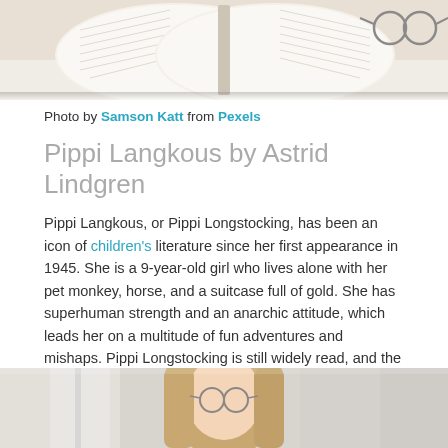[Figure (photo): Open book with glasses on a white surface, top portion visible]
Photo by Samson Katt from Pexels
Pippi Langkous by Astrid Lindgren
Pippi Langkous, or Pippi Longstocking, has been an icon of children's literature since her first appearance in 1945. She is a 9-year-old girl who lives alone with her pet monkey, horse, and a suitcase full of gold. She has superhuman strength and an anarchic attitude, which leads her on a multitude of fun adventures and mishaps. Pippi Longstocking is still widely read, and the character has been developed for TV and film and is still inspiring children to have fun adventures today.
[Figure (photo): Young girl with long blonde hair and glasses, partial view, bottom of page]